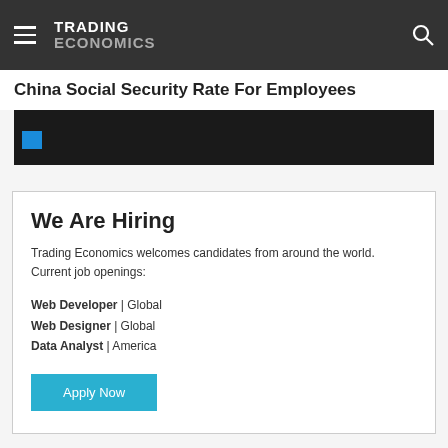TRADING ECONOMICS
China Social Security Rate For Employees
[Figure (screenshot): Dark chart area with a blue highlighted button]
We Are Hiring
Trading Economics welcomes candidates from around the world. Current job openings:
Web Developer | Global
Web Designer | Global
Data Analyst | America
Apply Now